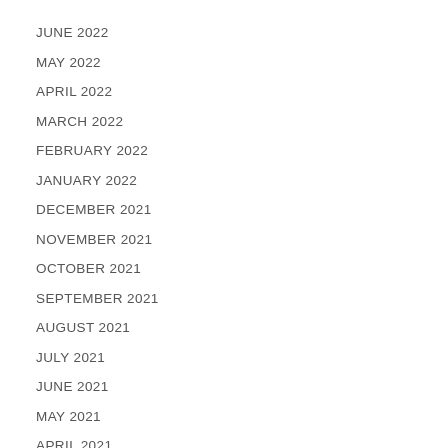JUNE 2022
MAY 2022
APRIL 2022
MARCH 2022
FEBRUARY 2022
JANUARY 2022
DECEMBER 2021
NOVEMBER 2021
OCTOBER 2021
SEPTEMBER 2021
AUGUST 2021
JULY 2021
JUNE 2021
MAY 2021
APRIL 2021
MARCH 2021